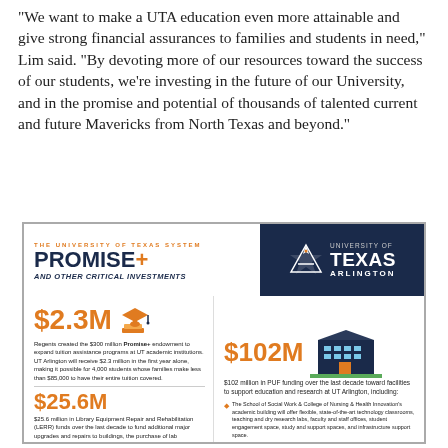“We want to make a UTA education even more attainable and give strong financial assurances to families and students in need,” Lim said. “By devoting more of our resources toward the success of our students, we’re investing in the future of our University, and in the promise and potential of thousands of talented current and future Mavericks from North Texas and beyond.”
[Figure (infographic): UT System Promise+ and Other Critical Investments infographic for University of Texas Arlington. Shows $2.3M for Promise+ endowment, $25.6M for Library Equipment Repair and Rehabilitation funds, $102M in PUF funding for facilities. Includes UTA logo and descriptions of each investment.]